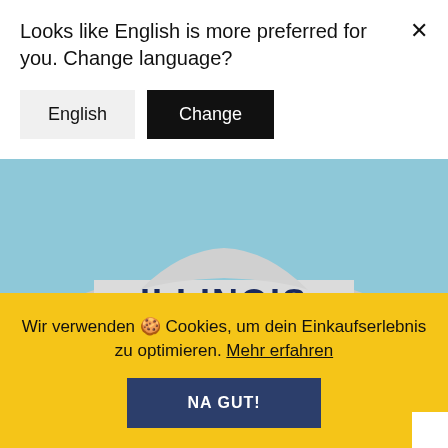[Figure (photo): A light gray Nike Illinois Golf crewneck sweatshirt laid out on a light blue background. The sweatshirt displays 'ILLINOIS' in dark navy block letters and 'GOLF' in smaller navy letters below, with a small Nike swoosh logo in the center.]
Looks like English is more preferred for you. Change language?
English   Change
Wir verwenden 🍪 Cookies, um dein Einkaufserlebnis zu optimieren. Mehr erfahren
NA GUT!